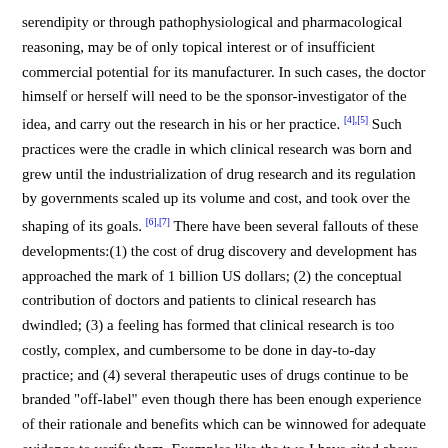serendipity or through pathophysiological and pharmacological reasoning, may be of only topical interest or of insufficient commercial potential for its manufacturer. In such cases, the doctor himself or herself will need to be the sponsor-investigator of the idea, and carry out the research in his or her practice. [4],[5] Such practices were the cradle in which clinical research was born and grew until the industrialization of drug research and its regulation by governments scaled up its volume and cost, and took over the shaping of its goals. [6],[7] There have been several fallouts of these developments:(1) the cost of drug discovery and development has approached the mark of 1 billion US dollars; (2) the conceptual contribution of doctors and patients to clinical research has dwindled; (3) a feeling has formed that clinical research is too costly, complex, and cumbersome to be done in day-to-day practice; and (4) several therapeutic uses of drugs continue to be branded "off-label" even though there has been enough experience of their rationale and benefits which can be winnowed for adequate evidence to verify them. Examples like the two I have cited above have not yet created enough impetus among doctors to undertake research in their practices on health care issues that directly concern them, and current regulations are probably fettering rather than fostering such research. [8] In the UK, Chalmers has at least